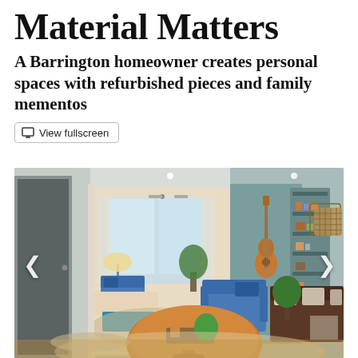Material Matters
A Barrington homeowner creates personal spaces with refurbished pieces and family mementos
View fullscreen
[Figure (photo): Interior living room with eclectic decor featuring a wooden round coffee table, blue armchair, brown sofa with pillows, a guitar hung on a teal wall, corner shelving unit, and wicker wall art. A doorway opens into a sunlit room with large windows and a ceiling fan.]